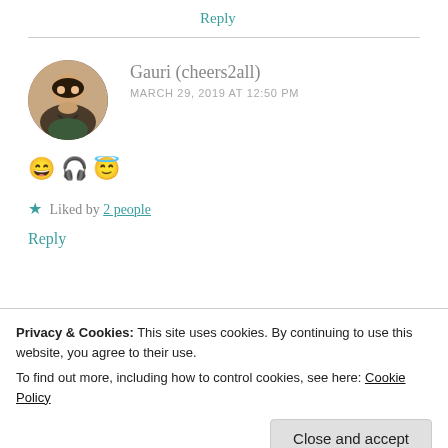Reply
Gauri (cheers2all)
MARCH 29, 2019 AT 12:50 PM
😄 🎧 😇
★ Liked by 2 people
Reply
Privacy & Cookies: This site uses cookies. By continuing to use this website, you agree to their use.
To find out more, including how to control cookies, see here: Cookie Policy
Close and accept